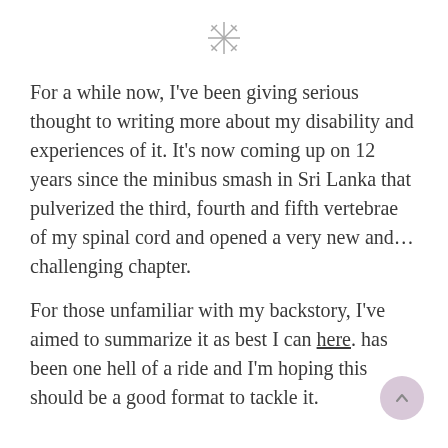[Figure (illustration): Decorative asterisk/snowflake symbol centered at top of page]
For a while now, I've been giving serious thought to writing more about my disability and experiences of it. It's now coming up on 12 years since the minibus smash in Sri Lanka that pulverized the third, fourth and fifth vertebrae of my spinal cord and opened a very new and… challenging chapter.
For those unfamiliar with my backstory, I've aimed to summarize it as best I can here. has been one hell of a ride and I'm hoping this should be a good format to tackle it.